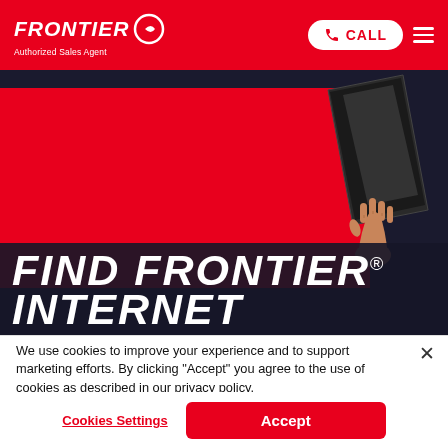FRONTIER® Authorized Sales Agent | CALL | menu
[Figure (screenshot): Frontier internet website hero section with red background box, hand holding a tablet/laptop, dark navy background, with large bold italic text 'FIND FRONTIER® INTERNET' overlaid at the bottom]
We use cookies to improve your experience and to support marketing efforts. By clicking "Accept" you agree to the use of cookies as described in our privacy policy.
Cookies Settings
Accept